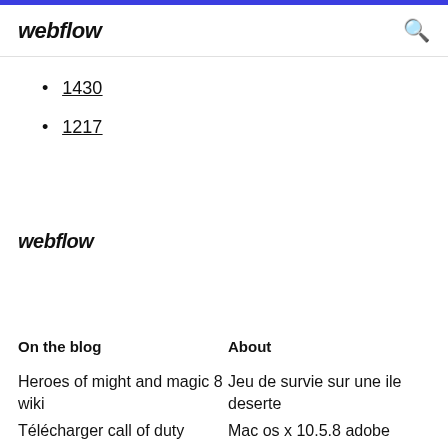webflow
1430
1217
webflow
On the blog
About
Heroes of might and magic 8 wiki
Jeu de survie sur une ile deserte
Télécharger call of duty
Mac os x 10.5.8 adobe